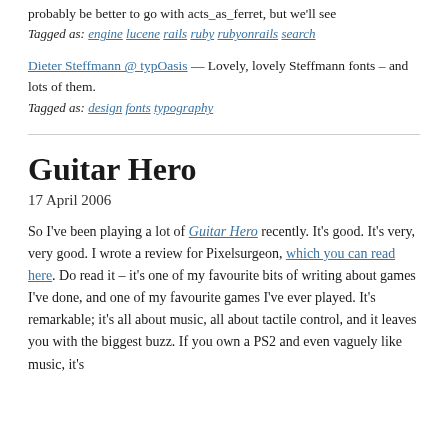probably be better to go with acts_as_ferret, but we'll see
Tagged as: engine lucene rails ruby rubyonrails search
Dieter Steffmann @ typOasis — Lovely, lovely Steffmann fonts – and lots of them.
Tagged as: design fonts typography
Guitar Hero
17 April 2006
So I've been playing a lot of Guitar Hero recently. It's good. It's very, very good. I wrote a review for Pixelsurgeon, which you can read here. Do read it – it's one of my favourite bits of writing about games I've done, and one of my favourite games I've ever played. It's remarkable; it's all about music, all about tactile control, and it leaves you with the biggest buzz. If you own a PS2 and even vaguely like music, it's